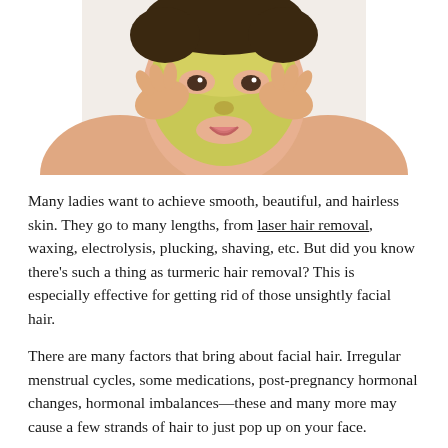[Figure (photo): Woman applying a green/yellow face mask (turmeric mask) with both hands touching her face, smiling, shown from shoulders up against a light background.]
Many ladies want to achieve smooth, beautiful, and hairless skin. They go to many lengths, from laser hair removal, waxing, electrolysis, plucking, shaving, etc. But did you know there’s such a thing as turmeric hair removal? This is especially effective for getting rid of those unsightly facial hair.
There are many factors that bring about facial hair. Irregular menstrual cycles, some medications, post-pregnancy hormonal changes, hormonal imbalances—these and many more may cause a few strands of hair to just pop up on your face.